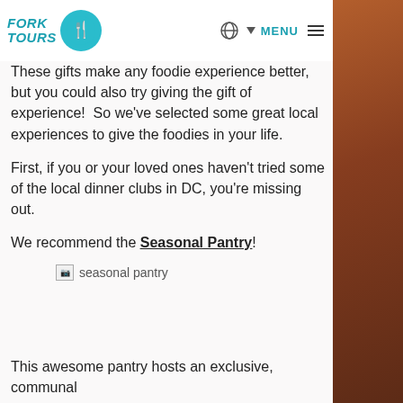Fork Tours — MENU navigation bar with logo
These gifts make any foodie experience better, but you could also try giving the gift of experience!  So we've selected some great local experiences to give the foodies in your life.
First, if you or your loved ones haven't tried some of the local dinner clubs in DC, you're missing out.
We recommend the Seasonal Pantry!
[Figure (illustration): Broken image placeholder for 'seasonal pantry' image]
This awesome pantry hosts an exclusive, communal